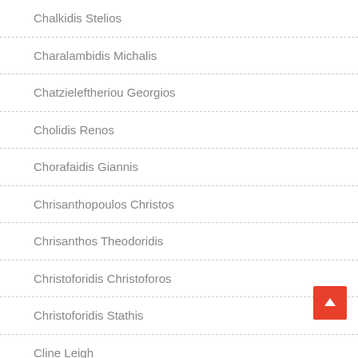Chalkidis Stelios
Charalambidis Michalis
Chatzieleftheriou Georgios
Cholidis Renos
Chorafaidis Giannis
Chrisanthopoulos Christos
Chrisanthos Theodoridis
Christoforidis Christoforos
Christoforidis Stathis
Cline Leigh
Comedy
Cosmos Philly